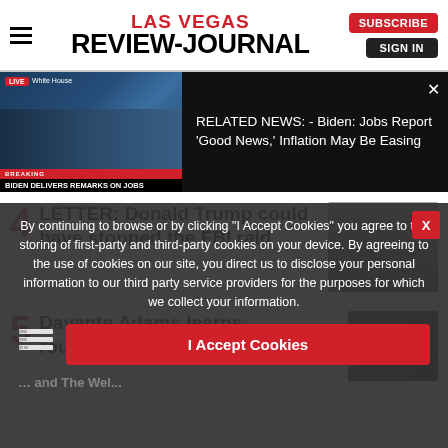Las Vegas Review-Journal
[Figure (screenshot): Video player showing Biden delivering remarks on jobs, with BREAKING NEWS banner. Related news text: RELATED NEWS: - Biden: Jobs Report 'Good News,' Inflation May Be Easing]
RELATED NEWS: - Biden: Jobs Report 'Good News,' Inflation May Be Easing
4 LETTER: Donald Trump could have stopped the FBI raid
[Figure (photo): Photo of Donald Trump]
5 Davante Adams learns routes on Raiders
By continuing to browse or by clicking "I Accept Cookies" you agree to the storing of first-party and third-party cookies on your device. By agreeing to the use of cookies on our site, you direct us to disclose your personal information to our third party service providers for the purposes for which we collect your information.
I Accept Cookies